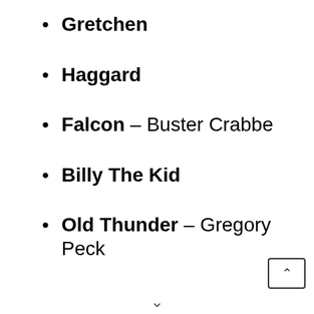Gretchen
Haggard
Falcon – Buster Crabbe
Billy The Kid
Old Thunder – Gregory Peck